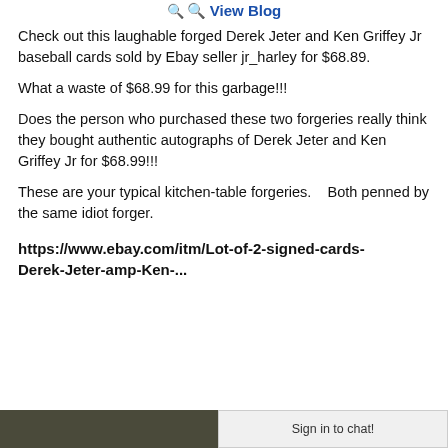🔭 View Blog
Check out this laughable forged Derek Jeter and Ken Griffey Jr baseball cards sold by Ebay seller jr_harley for $68.89.
What a waste of $68.99 for this garbage!!!
Does the person who purchased these two forgeries really think they bought authentic autographs of Derek Jeter and Ken Griffey Jr for $68.99!!!
These are your typical kitchen-table forgeries.   Both penned by the same idiot forger.
https://www.ebay.com/itm/Lot-of-2-signed-cards-Derek-Jeter-amp-Ken-...
[Figure (photo): Partial photo at bottom of page, dark background]
Sign in to chat!